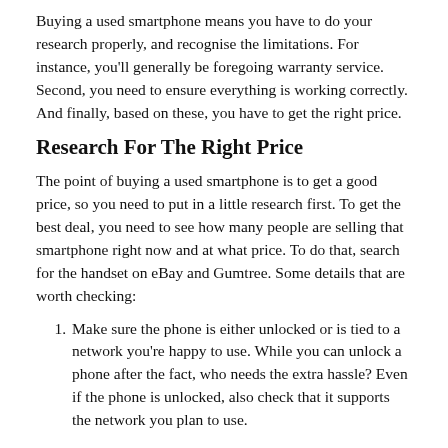Buying a used smartphone means you have to do your research properly, and recognise the limitations. For instance, you'll generally be foregoing warranty service. Second, you need to ensure everything is working correctly. And finally, based on these, you have to get the right price.
Research For The Right Price
The point of buying a used smartphone is to get a good price, so you need to put in a little research first. To get the best deal, you need to see how many people are selling that smartphone right now and at what price. To do that, search for the handset on eBay and Gumtree. Some details that are worth checking:
Make sure the phone is either unlocked or is tied to a network you're happy to use. While you can unlock a phone after the fact, who needs the extra hassle? Even if the phone is unlocked, also check that it supports the network you plan to use.